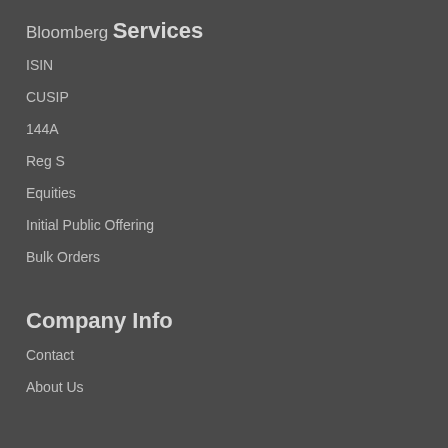Bloomberg
Services
ISIN
CUSIP
144A
Reg S
Equities
Initial Public Offering
Bulk Orders
Company Info
Contact
About Us